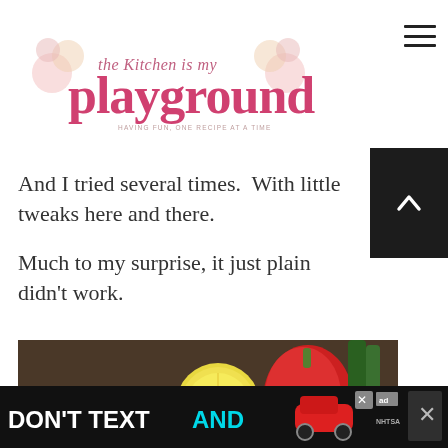The Kitchen is My Playground — HAVING FUN, ONE RECIPE AT A TIME
And I tried several times.  With little tweaks here and there.
Much to my surprise, it just plain didn't work.
[Figure (photo): Close-up food photo showing baked spinach dip appetizers on a wooden board with a red pepper and lemon half in the background, with a 'WHAT'S NEXT: Spinach and Artichoke Di...' overlay]
[Figure (other): DON'T TEXT AND [drive] advertisement banner with car illustration and NHTSA branding]